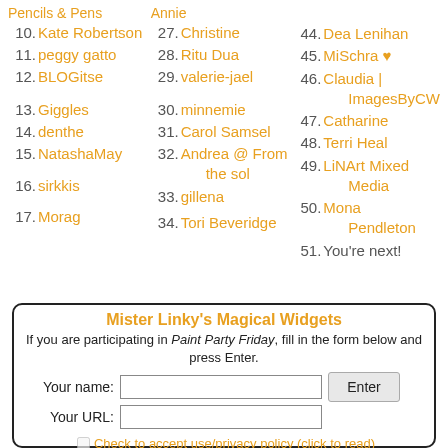Pencils & Pens
Annie
10. Kate Robertson
27. Christine
44. Dea Lenihan
11. peggy gatto
28. Ritu Dua
45. MiSchra ♥
12. BLOGitse
29. valerie-jael
46. Claudia | ImagesByCW
13. Giggles
30. minnemie
47. Catharine
14. denthe
31. Carol Samsel
48. Terri Heal
15. NatashaMay
32. Andrea @ From the sol
49. LiNArt Mixed Media
16. sirkkis
33. gillena
50. Mona Pendleton
17. Morag
34. Tori Beveridge
51. You're next!
[Figure (other): Mister Linky's Magical Widgets form with name and URL input fields, Enter button, and checkbox for privacy policy]
Mister Linky's Magical Widgets
If you are participating in Paint Party Friday, fill in the form below and press Enter.
Your name:
Your URL:
Check to accept use/privacy policy (click to read)
Please leave a comment after linking. Thank you!